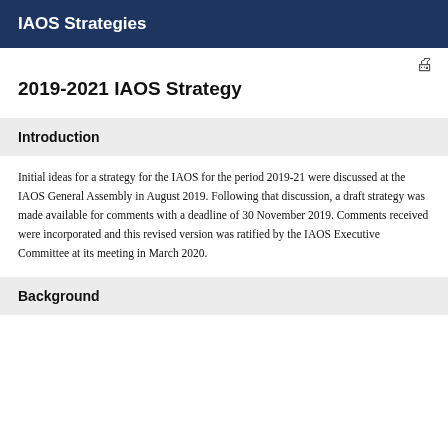IAOS Strategies
2019-2021 IAOS Strategy
Introduction
Initial ideas for a strategy for the IAOS for the period 2019-21 were discussed at the IAOS General Assembly in August 2019. Following that discussion, a draft strategy was made available for comments with a deadline of 30 November 2019. Comments received were incorporated and this revised version was ratified by the IAOS Executive Committee at its meeting in March 2020.
Background